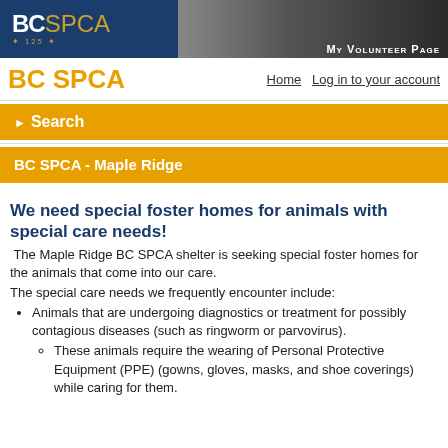[Figure (screenshot): BC SPCA banner with logo showing 'BC' in white and 'SPCA' in gold, '125' anniversary text, and a cat photo with 'My Volunteer Page' text overlay]
BC SPCA
Home    Log in to your account
▶ Search
BC SPCA - Maple Ridge
We need special foster homes for animals with special care needs!
The Maple Ridge BC SPCA shelter is seeking special foster homes for the animals that come into our care.
The special care needs we frequently encounter include:
Animals that are undergoing diagnostics or treatment for possibly contagious diseases (such as ringworm or parvovirus).
These animals require the wearing of Personal Protective Equipment (PPE) (gowns, gloves, masks, and shoe coverings) while caring for them.